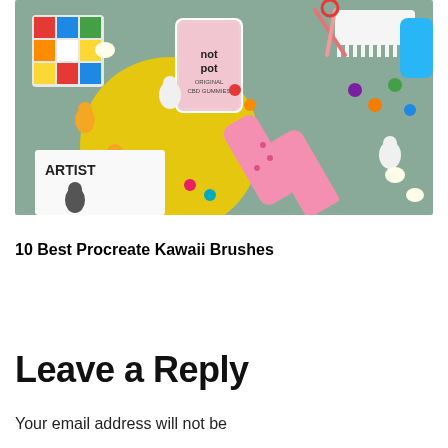[Figure (photo): Colorful flat-lay photo featuring gummy bears, pink hair rollers, a Rubik's cube, a 'not pot' branded cylindrical container, popcorn, colorful candies/beads, a white comb, scissors, a magazine clipping that says 'ARTIST', and various small objects on a sage green background with a yellow circular element.]
10 Best Procreate Kawaii Brushes
Leave a Reply
Your email address will not be